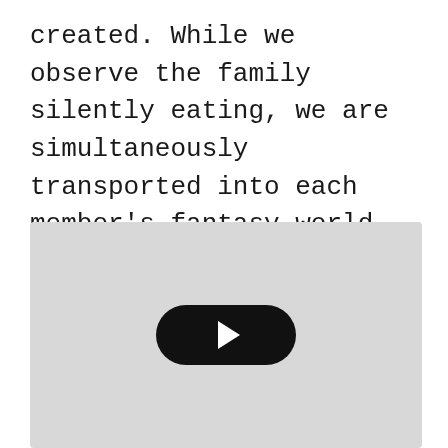created. While we observe the family silently eating, we are simultaneously transported into each member's fantasy world. Where they have replaced this disconnection with technology addiction. Heavy.
[Figure (other): Video player placeholder with a grey background and a black rounded rectangle play button in the center containing a white play triangle.]